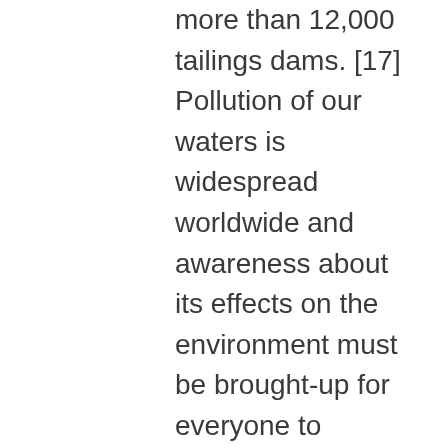more than 12,000 tailings dams. [17]  Pollution of our waters is widespread worldwide and awareness about its effects on the environment must be brought-up for everyone to consciously put a concerted effort to make a long-lasting impact on our environment.  The studies of the effects which the toxic mining sludge has had, this past year, legitimize concerns for holding those who benefit the most from plundering the natural resources to leave the environment intact, at the very least, so that those who remain may continue to enjoy the environment as